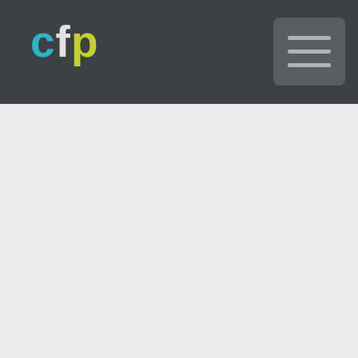cfp
Vol. 119 (2012)
Vol. 31 n° 1,6,7,10 (1...
Vol. 32 (19...
Vol. 33 (19...
Vol. 34 (19...
Vol. 35 (19...
Vol. 36 (19...
Vol. 37 n° 1,3,4,7 (19...
Vol. 39 n° (1931)
Vol. 39 n° (1932)
Vol. 40 n° 2,3,4,5,6,7 (1933)